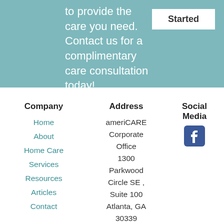to provide the care you need. Contact us for a complimentary care consultation today!
Started
Company
Address
Social Media
Home
About
Home Care
Services
Resources
Articles
Contact
ameriCARE Corporate Office 1300 Parkwood Circle SE , Suite 100 Atlanta, GA 30339 Phone: (866)
[Figure (logo): Facebook logo icon in blue/white]